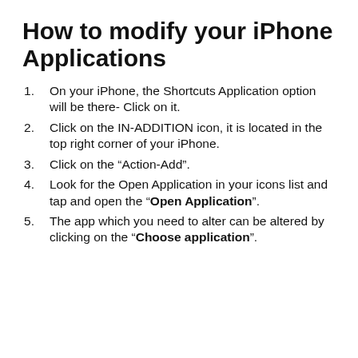How to modify your iPhone Applications
On your iPhone, the Shortcuts Application option will be there- Click on it.
Click on the IN-ADDITION icon, it is located in the top right corner of your iPhone.
Click on the “Action-Add”.
Look for the Open Application in your icons list and tap and open the “Open Application”.
The app which you need to alter can be altered by clicking on the “Choose application”.